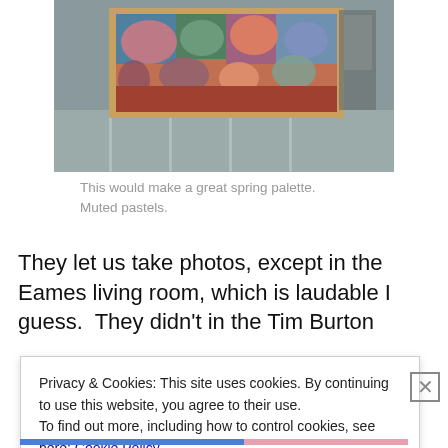[Figure (photo): A colorful abstract painting with muted pastel circles and shapes, displayed in a frame on a white wall in what appears to be a gallery or office setting.]
This would make a great spring palette.  Muted pastels.
They let us take photos, except in the Eames living room, which is laudable I guess.  They didn't in the Tim Burton
Privacy & Cookies: This site uses cookies. By continuing to use this website, you agree to their use.
To find out more, including how to control cookies, see here: Cookie Policy
Close and accept